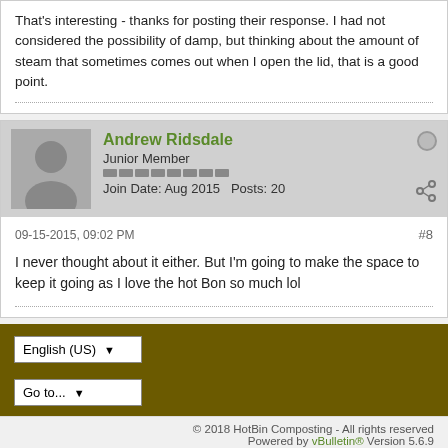That's interesting - thanks for posting their response. I had not considered the possibility of damp, but thinking about the amount of steam that sometimes comes out when I open the lid, that is a good point.
Andrew Ridsdale
Junior Member
Join Date: Aug 2015   Posts: 20
09-15-2015, 09:02 PM
#8
I never thought about it either. But I'm going to make the space to keep it going as I love the hot Bon so much lol
English (US)
Go to...
© 2018 HotBin Composting - All rights reserved
Powered by vBulletin® Version 5.6.9